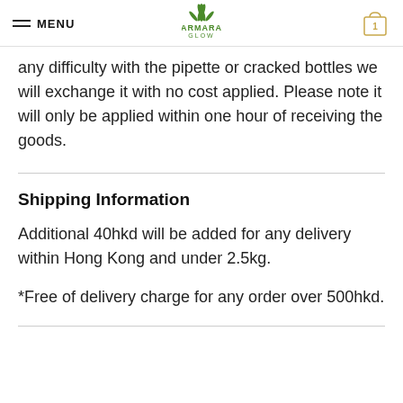MENU | ARMARA GLOW | 1
any difficulty with the pipette or cracked bottles we will exchange it with no cost applied. Please note it will only be applied within one hour of receiving the goods.
Shipping Information
Additional 40hkd will be added for any delivery within Hong Kong and under 2.5kg.
*Free of delivery charge for any order over 500hkd.